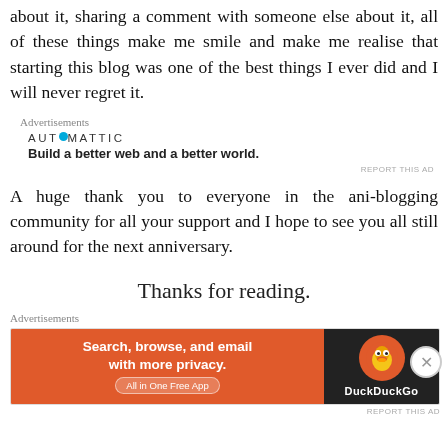about it, sharing a comment with someone else about it, all of these things make me smile and make me realise that starting this blog was one of the best things I ever did and I will never regret it.
Advertisements
[Figure (other): Automattic advertisement: logo reading AUTOMATTIC with a blue dot, tagline 'Build a better web and a better world.']
REPORT THIS AD
A huge thank you to everyone in the ani-blogging community for all your support and I hope to see you all still around for the next anniversary.
Thanks for reading.
Advertisements
[Figure (other): DuckDuckGo advertisement: orange left panel reading 'Search, browse, and email with more privacy. All in One Free App', dark right panel with DuckDuckGo duck logo and brand name.]
REPORT THIS AD